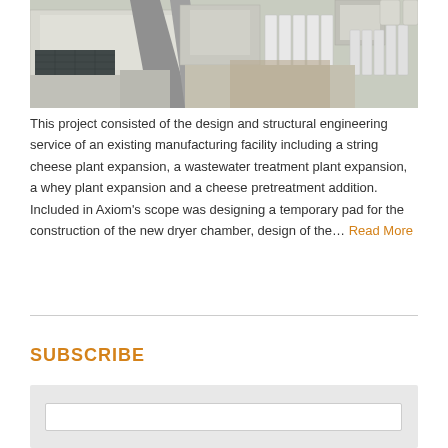[Figure (photo): Aerial photograph of a large industrial/manufacturing facility complex with multiple buildings, silos, and storage tanks viewed from above]
This project consisted of the design and structural engineering service of an existing manufacturing facility including a string cheese plant expansion, a wastewater treatment plant expansion, a whey plant expansion and a cheese pretreatment addition. Included in Axiom's scope was designing a temporary pad for the construction of the new dryer chamber, design of the… Read More
SUBSCRIBE